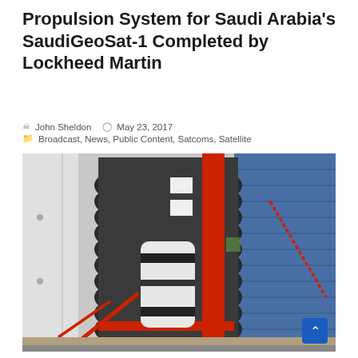Propulsion System for Saudi Arabia's SaudiGeoSat-1 Completed by Lockheed Martin
John Sheldon   May 23, 2017   Broadcast, News, Public Content, Satcoms, Satellite
[Figure (photo): Photograph of the SaudiGeoSat-1 satellite propulsion system in a facility. Shows a large cylindrical propulsion tank (black and white) with red structural framing/supports and a blue paneled wall in the background. The spacecraft hardware is mounted on a work platform.]